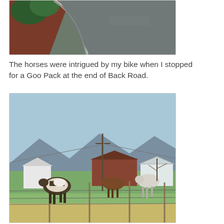[Figure (photo): Top portion of a photo showing a curved road/driveway with red mulch landscaping and shrubs on the left side, and gray asphalt road surface on the right.]
The horses were intrigued by my bike when I stopped for a Goo Pack at the end of Back Road.
[Figure (photo): Three horses standing near a wire fence on a farm. A painted horse on the left, a brown horse in the center, and a white horse on the right. Farm buildings and a mountain range are visible in the background under a blue sky.]